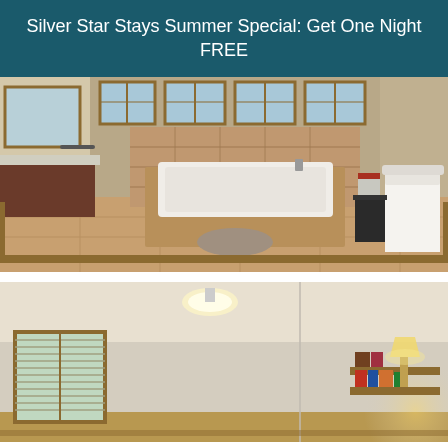Silver Star Stays Summer Special: Get One Night FREE
[Figure (photo): Interior bathroom with large soaking tub, tile surround, multiple windows with wood frames, vanity counter on left, toilet on right, and a bath rug on tile floor]
[Figure (photo): Interior bedroom with neutral walls, wood-framed window with blinds on left, ceiling light fixture, and a small bookshelf with lamp in the corner]